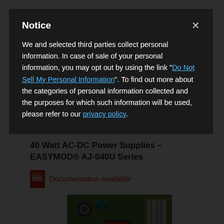Notice
We and selected third parties collect personal information. In case of sale of your personal information, you may opt out by using the link "Do Not Sell My Personal Information". To find out more about the categories of personal information collected and the purposes for which such information will be used, please refer to our privacy policy.
40 Watt AC-DC Power Supplies – EASYMOD® AJ-040U Series
Documentation Available
[Figure (photo): Photo of an open-frame AC-DC power supply PCB (EASYMOD AJ-040U Series), showing capacitors, transformer, heatsink, and other electronic components on a green circuit board.]